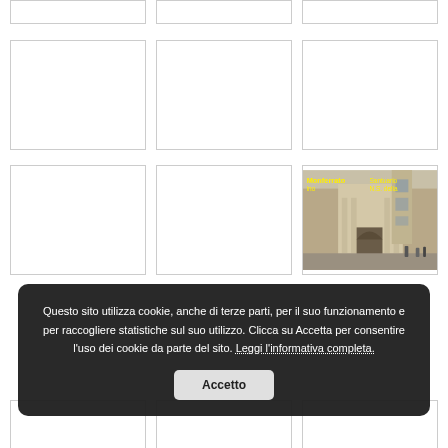[Figure (photo): Grid of image thumbnails (empty placeholder boxes) — row 1 partial]
[Figure (photo): Grid of image thumbnails (empty placeholder boxes) — row 2]
[Figure (photo): Grid of image thumbnails — row 3, with one photo showing a church/sanctuary in an Italian town square (Monferrato / Santuario N.S. della...)]
[Figure (photo): Grid of image thumbnails (empty placeholder boxes) — row 4 partial]
Questo sito utilizza cookie, anche di terze parti, per il suo funzionamento e per raccogliere statistiche sul suo utilizzo. Clicca su Accetta per consentire l'uso dei cookie da parte del sito. Leggi l'informativa completa. Accetto